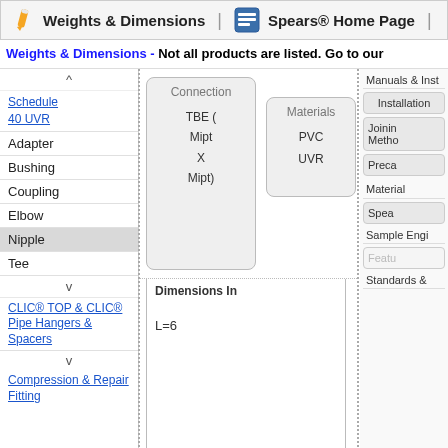Weights & Dimensions | Spears® Home Page
Weights & Dimensions - Not all products are listed. Go to our
Connection: TBE (Mipt X Mipt)
Materials: PVC UVR
[Figure (engineering-diagram): Cross-section diagram of a PVC UVR nipple fitting showing threaded ends with zigzag teeth pattern at top and bottom, a tan/beige body with thick black borders, and a horizontal arrow pointing left indicating a dimension direction.]
Dimensions In
L=6
Schedule 40 UVR
Adapter
Bushing
Coupling
Elbow
Nipple
Tee
CLIC® TOP & CLIC® Pipe Hangers & Spacers
Compression & Repair Fitting
Manuals & Inst
Installation
Joining Methods
Preca
Material
Spea
Sample Engi
Featu
Standards &